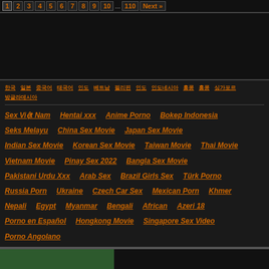1 2 3 4 5 6 7 8 9 10 ... 110 Next »
[Figure (other): Advertisement block]
한국 일본 중국어 태국어 인도 베트남 필리핀 인도네시아 말레이시아 홍콩 싱가포르 방글라데시
Sex Việt Nam
Hentai xxx
Anime Porno
Bokep Indonesia
Seks Melayu
China Sex Movie
Japan Sex Movie
Indian Sex Movie
Korean Sex Movie
Taiwan Movie
Thai Movie
Vietnam Movie
Pinay Sex 2022
Bangla Sex Movie
Pakistani Urdu Xxx
Arab Sex
Brazil Girls Sex
Türk Porno
Russia Porn
Ukraine
Czech Car Sex
Mexican Porn
Khmer
Nepali
Egypt
Myanmar
Bengali
African
Azeri 18
Porno en Español
Hongkong Movie
Singapore Sex Video
Porno Angolano
[Figure (photo): Thumbnail image strip at bottom]